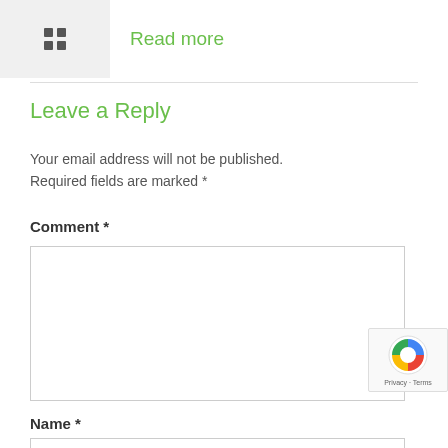Read more
Leave a Reply
Your email address will not be published. Required fields are marked *
Comment *
Name *
[Figure (other): reCAPTCHA badge with logo and Privacy - Terms text]